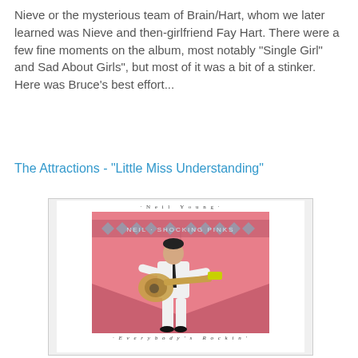Nieve or the mysterious team of Brain/Hart, whom we later learned was Nieve and then-girlfriend Fay Hart. There were a few fine moments on the album, most notably "Single Girl" and Sad About Girls", but most of it was a bit of a stinker. Here was Bruce's best effort...
The Attractions - "Little Miss Understanding"
[Figure (photo): Album cover of Neil Young & the Shocking Pinks - Everybody's Rockin'. Shows a man in a white suit playing a guitar against a pink background. The album title is displayed in a diamond/chevron pattern banner at the top.]